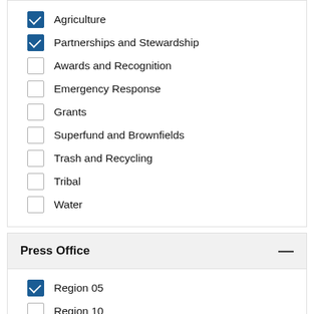Agriculture (checked)
Partnerships and Stewardship (checked)
Awards and Recognition (unchecked)
Emergency Response (unchecked)
Grants (unchecked)
Superfund and Brownfields (unchecked)
Trash and Recycling (unchecked)
Tribal (unchecked)
Water (unchecked)
Press Office
Region 05 (checked)
Region 10 (unchecked)